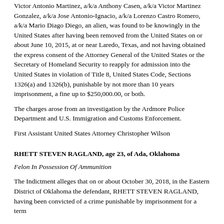Victor Antonio Martinez, a/k/a Anthony Casen, a/k/a Victor Martinez Gonzalez, a/k/a Jose Antonio-Ignacio, a/k/a Lorenzo Castro Romero, a/k/a Mario Diago Diego, an alien, was found to be knowingly in the United States after having been removed from the United States on or about June 10, 2015, at or near Laredo, Texas, and not having obtained the express consent of the Attorney General of the United States or the Secretary of Homeland Security to reapply for admission into the United States in violation of Title 8, United States Code, Sections 1326(a) and 1326(b), punishable by not more than 10 years imprisonment, a fine up to $250,000.00, or both.
The charges arose from an investigation by the Ardmore Police Department and U.S. Immigration and Customs Enforcement.
First Assistant United States Attorney Christopher Wilson
RHETT STEVEN RAGLAND, age 23, of Ada, Oklahoma
Felon In Possession Of Ammunition
The Indictment alleges that on or about October 30, 2018, in the Eastern District of Oklahoma the defendant, RHETT STEVEN RAGLAND, having been convicted of a crime punishable by imprisonment for a term